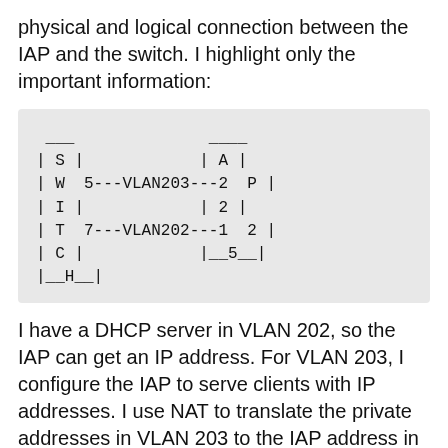physical and logical connection between the IAP and the switch. I highlight only the important information:
[Figure (schematic): ASCII diagram showing a switch (SWI TCH) connected via VLAN203 and VLAN202 to an access point (AP) with port labels 5, 7, 2, 1, 2, 5]
I have a DHCP server in VLAN 202, so the IAP can get an IP address. For VLAN 203, I configure the IAP to serve clients with IP addresses. I use NAT to translate the private addresses in VLAN 203 to the IAP address in VLAN 202. With NAT, you do not have to work with routing. If you prefer routing, you